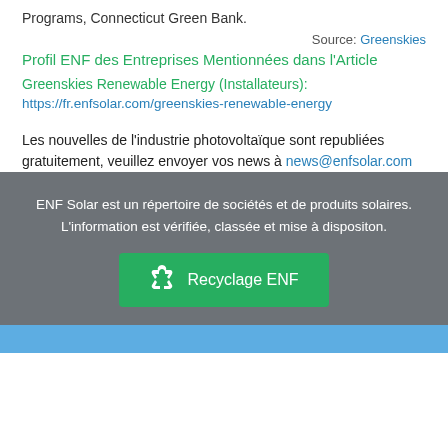Programs, Connecticut Green Bank.
Source: Greenskies
Profil ENF des Entreprises Mentionnées dans l'Article
Greenskies Renewable Energy (Installateurs): https://fr.enfsolar.com/greenskies-renewable-energy
Les nouvelles de l'industrie photovoltaïque sont republiées gratuitement, veuillez envoyer vos news à news@enfsolar.com
ENF Solar est un répertoire de sociétés et de produits solaires. L'information est vérifiée, classée et mise à dispositon.
Recyclage ENF